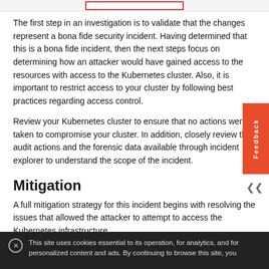The first step in an investigation is to validate that the changes represent a bona fide security incident. Having determined that this is a bona fide incident, then the next steps focus on determining how an attacker would have gained access to the resources with access to the Kubernetes cluster. Also, it is important to restrict access to your cluster by following best practices regarding access control.
Review your Kubernetes cluster to ensure that no actions were taken to compromise your cluster. In addition, closely review the audit actions and the forensic data available through incident explorer to understand the scope of the incident.
Mitigation
A full mitigation strategy for this incident begins with resolving the issues that allowed the attacker to attempt to access the Kubernetes infrastructure.
This site uses cookies essential to its operation, for analytics, and for personalized content and ads. By continuing to browse this site, you